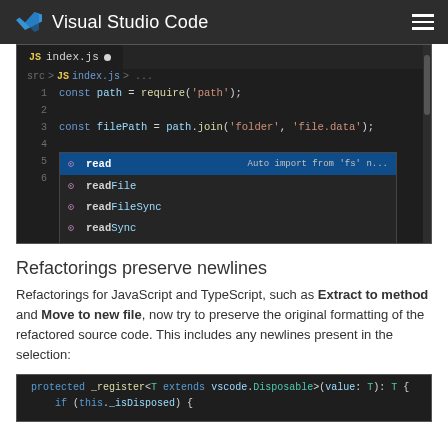Visual Studio Code
[Figure (screenshot): VS Code editor showing index.js with autocomplete dropdown for 'read' with options: read (Auto import from 'fs' n...), readFile, readFileSync, readSync, readdir, readdirSync]
Refactorings preserve newlines
Refactorings for JavaScript and TypeScript, such as Extract to method and Move to new file, now try to preserve the original formatting of the refactored source code. This includes any newlines present in the selection:
[Figure (screenshot): VS Code editor showing code: protected _register<T extends vscode.Disposable>(value: T): T { if (this._isDisposed) {]